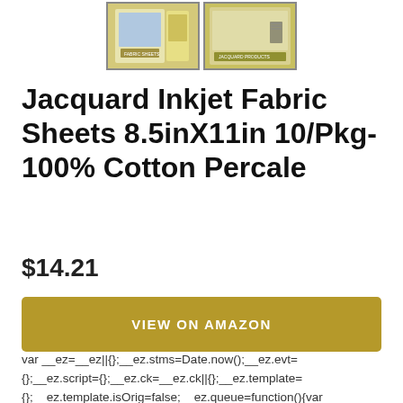[Figure (photo): Two product thumbnail images of Jacquard Inkjet Fabric Sheets packaging, side by side, with product box art visible.]
Jacquard Inkjet Fabric Sheets 8.5inX11in 10/Pkg-100% Cotton Percale
$14.21
VIEW ON AMAZON
var __ez=__ez||{};__ez.stms=Date.now();__ez.evt={};__ez.script={};__ez.ck=__ez.ck||{};__ez.template={};__ez.template.isOrig=false;__ez.queue=function(){var